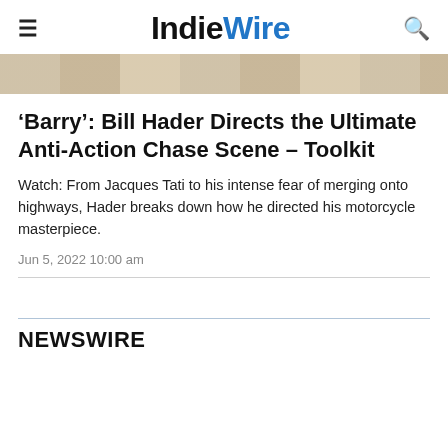IndieWire
[Figure (photo): Partial hero image, beige/tan tones, top of article image cropped]
'Barry': Bill Hader Directs the Ultimate Anti-Action Chase Scene – Toolkit
Watch: From Jacques Tati to his intense fear of merging onto highways, Hader breaks down how he directed his motorcycle masterpiece.
Jun 5, 2022 10:00 am
NEWSWIRE